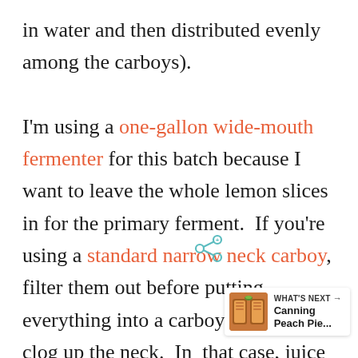in water and then distributed evenly among the carboys).

I'm using a one-gallon wide-mouth fermenter for this batch because I want to leave the whole lemon slices in for the primary ferment.  If you're using a standard narrow neck carboy, filter them out before putting everything into a carboy or you'll clog up the neck.  In that case, juice and zest the le[mons] instead of slicing them, and discard the
[Figure (other): Share icon (teal/green nodes connected) and 'What's Next' widget showing a thumbnail of Canning Peach Pie with text 'WHAT'S NEXT → Canning Peach Pie...']